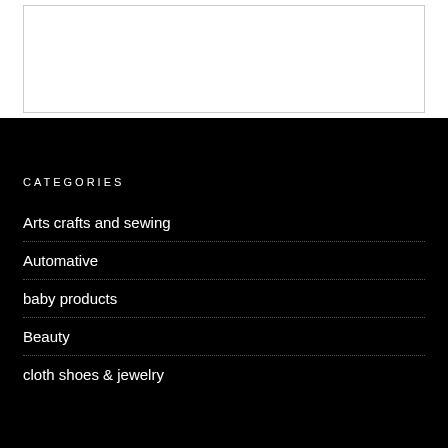[Figure (other): White rectangular box with border on white background, top portion of page]
CATEGORIES
Arts crafts and sewing
Automative
baby products
Beauty
cloth shoes & jewelry